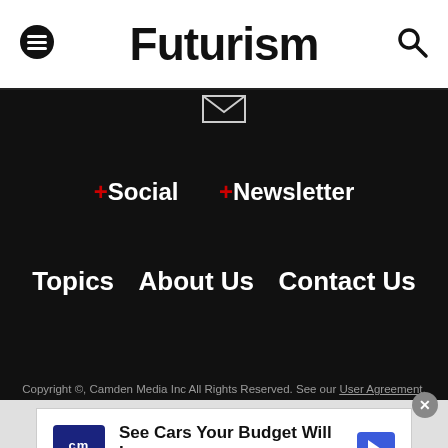Futurism
+Social  +Newsletter
Topics  About Us  Contact Us
Copyright ©, Camden Media Inc All Rights Reserved. See our User Agreement, Privacy Policy and Data Use Policy. The material on this site may not be reproduced, distributed, transmitted, cached or otherwise used, except with prior written
[Figure (infographic): CarMax advertisement: See Cars Your Budget Will Love, CarMax]